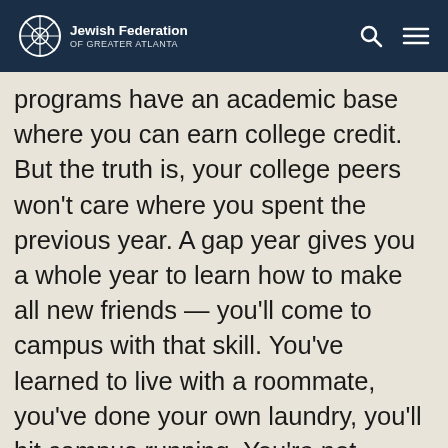Jewish Federation of Greater Atlanta
programs have an academic base where you can earn college credit. But the truth is, your college peers won't care where you spent the previous year. A gap year gives you a whole year to learn how to make all new friends — you'll come to campus with that skill. You've learned to live with a roommate, you've done your own laundry, you'll hit campus running. You're not behind, you're ahead.
Future employers will appreciate your experience, and the fact that you have friends from all over the world is a gift that you'll have forever. And you'll have BIG fun!